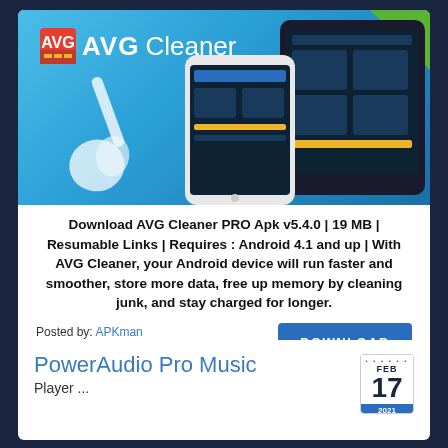[Figure (screenshot): AVG Cleaner promotional banner showing AVG Cleaner logo, broom icon, and Android phone/tablet screenshots on a blue background]
Download AVG Cleaner PRO Apk v5.4.0 | 19 MB | Resumable Links | Requires : Android 4.1 and up | With AVG Cleaner, your Android device will run faster and smoother, store more data, free up memory by cleaning junk, and stay charged for longer.
Posted by: APKman
Category: Android Apps
DOWNLOAD
PowerAudio Pro Music
Player ...